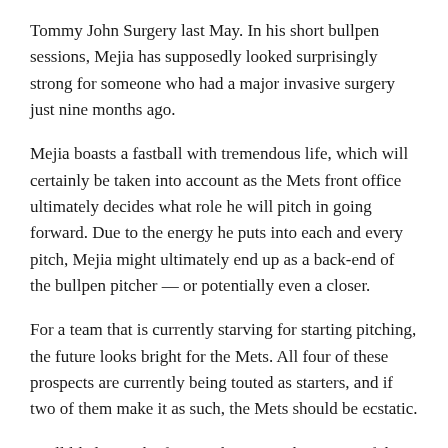Tommy John Surgery last May. In his short bullpen sessions, Mejia has supposedly looked surprisingly strong for someone who had a major invasive surgery just nine months ago.
Mejia boasts a fastball with tremendous life, which will certainly be taken into account as the Mets front office ultimately decides what role he will pitch in going forward. Due to the energy he puts into each and every pitch, Mejia might ultimately end up as a back-end of the bullpen pitcher — or potentially even a closer.
For a team that is currently starving for starting pitching, the future looks bright for the Mets. All four of these prospects are currently being touted as starters, and if two of them make it as such, the Mets should be ecstatic.
We'll likely see the four pitchers over the course of the next two seasons, with Harvey and Familia on the fast track to Queens. Most expect Harvey to be making regular apperances on Citi Field's mound later this season, while Familia will likely be a September call up.
If we're Mets fans looking for some encouragement, the pitching...